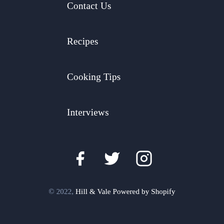Contact Us
Recipes
Cooking Tips
Interviews
[Figure (illustration): Social media icons: Facebook, Twitter, Instagram]
© 2022, Hill & Vale Powered by Shopify